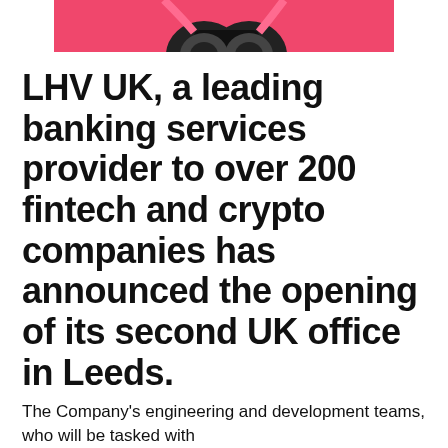[Figure (illustration): Partial image with pink/coral background showing what appears to be a camera or binoculars illustration, cropped at top of page]
LHV UK, a leading banking services provider to over 200 fintech and crypto companies has announced the opening of its second UK office in Leeds.
The Company's engineering and development teams, who will be tasked with